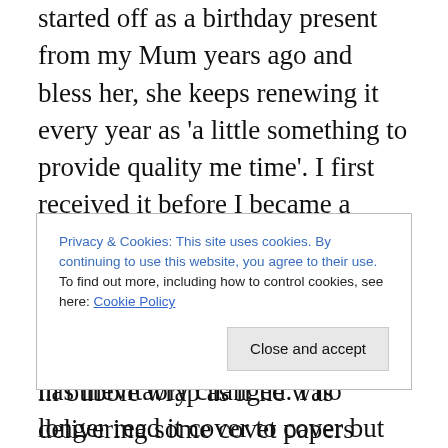started off as a birthday present from my Mum years ago and bless her, she keeps renewing it every year as 'a little something to provide quality me time'. I first received it before I became a Mum and was able to sit and read it cover to cover then place it down in perfect condition on my coffee table. Over the years that has inevitably changed. I no longer read it cover to cover but in more sporadic 5 minutes to myself moments. It is normally read in the bath, so is often water-logged and is shoved in the magazine/toiletries rack in the bathroom and ends up too dog-eared to finish by the time the next one arrives. But I
Privacy & Cookies: This site uses cookies. By continuing to use this website, you agree to their use. To find out more, including how to control cookies, see here: Cookie Policy
in bubble wrap as if he was delivering some covet papers